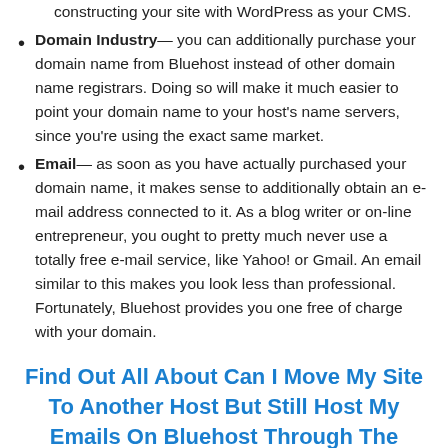constructing your site with WordPress as your CMS.
Domain Industry— you can additionally purchase your domain name from Bluehost instead of other domain name registrars. Doing so will make it much easier to point your domain name to your host's name servers, since you're using the exact same market.
Email— as soon as you have actually purchased your domain name, it makes sense to additionally obtain an e-mail address connected to it. As a blog writer or on-line entrepreneur, you ought to pretty much never use a totally free e-mail service, like Yahoo! or Gmail. An email similar to this makes you look less than professional. Fortunately, Bluehost provides you one free of charge with your domain.
Find Out All About Can I Move My Site To Another Host But Still Host My Emails On Bluehost Through The Official Site Here ->